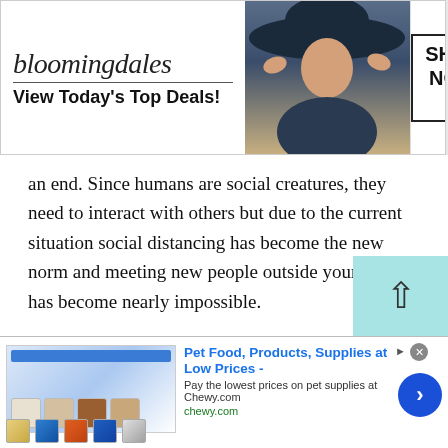[Figure (screenshot): Bloomingdale's advertisement banner: logo with 'bloomingdales' script, 'View Today's Top Deals!' tagline, woman in wide-brim hat, 'SHOP NOW >' button in box]
an end. Since humans are social creatures, they need to interact with others but due to the current situation social distancing has become the new norm and meeting new people outside your home has become nearly impossible.
At Talkwithstranger, we allow people to use our platform and make new friends. Our private chat rooms allow you to meet outstanding individuals from all parts of the world which Turkish Omegle Talk to Strangers much easier.
[Figure (screenshot): Chewy.com advertisement banner: 'Pet Food, Products, Supplies at Low Prices -', 'Pay the lowest prices on pet supplies at Chewy.com', chewy.com URL, product images, blue arrow button]